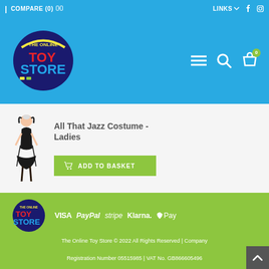COMPARE (0)  |  LINKS  f  [instagram]
[Figure (logo): The Online Toy Store logo on blue background header]
All That Jazz Costume - Ladies
ADD TO BASKET
[Figure (logo): The Online Toy Store logo on green footer background with payment methods: VISA, PayPal, stripe, Klarna, Apple Pay]
The Online Toy Store © 2022 All Rights Reserved | Company Registration Number 05515985 | VAT No. GB866605496 Avant Garde Distribution Ltd Unit 10 Holmes Chapel Business P...